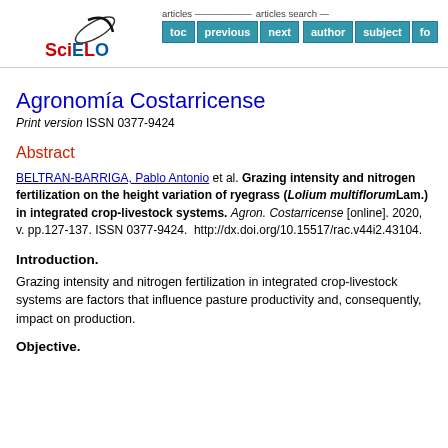[Figure (logo): SciELO logo with stylized swoosh above text]
articles | toc | previous | next | articles search | author | subject | fo
Agronomía Costarricense
Print version ISSN 0377-9424
Abstract
BELTRAN-BARRIGA, Pablo Antonio et al. Grazing intensity and nitrogen fertilization on the height variation of ryegrass (Lolium multiflorum Lam.) in integrated crop-livestock systems. Agron. Costarricense [online]. 2020, v. pp.127-137. ISSN 0377-9424. http://dx.doi.org/10.15517/rac.v44i2.43104.
Introduction.
Grazing intensity and nitrogen fertilization in integrated crop-livestock systems are factors that influence pasture productivity and, consequently, impact on production.
Objective.